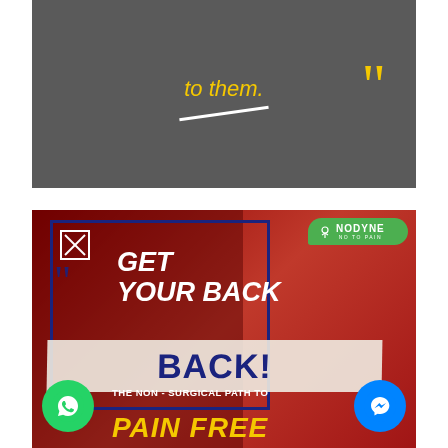[Figure (illustration): Top image on grey background showing yellow and white italic text 'to them.' with yellow quotation marks and a white diagonal line]
[Figure (infographic): Medical advertisement banner with red background showing a person with back pain, text 'GET YOUR BACK BACK! THE NON-SURGICAL PATH TO PAIN FREE', Nodyne logo in green speech bubble, blue quote marks, WhatsApp and Messenger buttons]